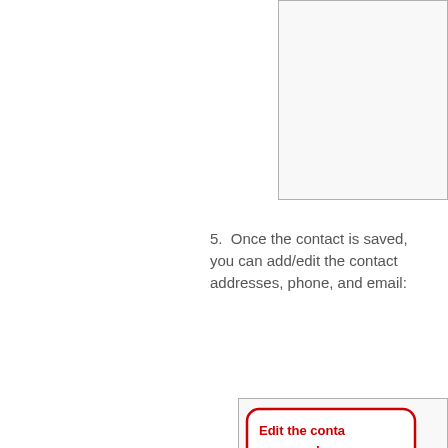[Figure (screenshot): Partial screenshot of a UI panel with a light gray border, showing the top portion of a form or dialog box, cropped at the top-right of the page.]
5. Once the contact is saved, you can add/edit the contact addresses, phone, and email:
[Figure (screenshot): Screenshot of a UI panel with gray border showing an edit contact form. Inside a red rounded-rectangle callout bubble with bold red text: 'Edit the conta name and co type.' A curved red arrow points downward into the panel. The panel shows a partially visible form with a horizontal line.]